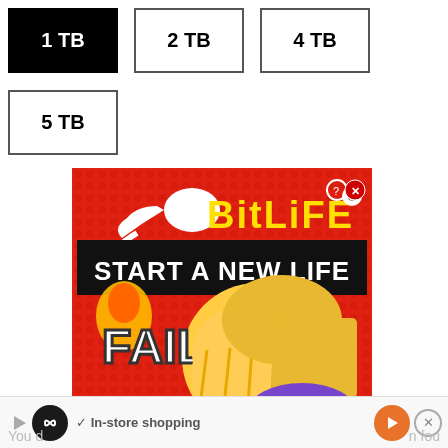1 TB (selected)
2 TB
4 TB
5 TB
[Figure (screenshot): BitLife app advertisement with red dotted background. Shows 'BitLife' logo in yellow with a sperm icon, 'START A NEW LIFE' in white text on black banner, 'FAIL' text stamp, and a cartoon blonde girl facepalming wearing a purple shirt.]
You can also find it in store shopping n fou different B